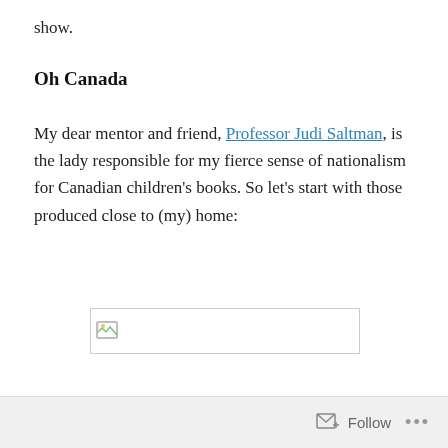show.
Oh Canada
My dear mentor and friend, Professor Judi Saltman, is the lady responsible for my fierce sense of nationalism for Canadian children’s books. So let’s start with those produced close to (my) home:
[Figure (photo): Broken image placeholder — a rectangular image that failed to load, shown with a small broken image icon in the top-left corner and a plain border.]
Follow •••